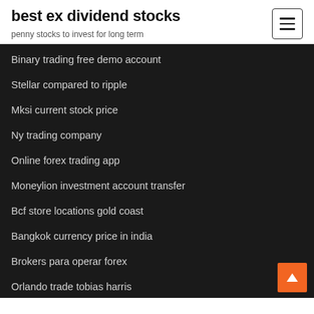best ex dividend stocks
penny stocks to invest for long term
Binary trading free demo account
Stellar compared to ripple
Mksi current stock price
Ny trading company
Online forex trading app
Moneylion investment account transfer
Bcf store locations gold coast
Bangkok currency price in india
Brokers para operar forex
Orlando trade tobias harris